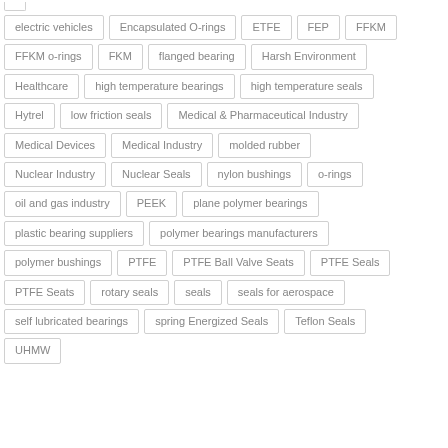electric vehicles
Encapsulated O-rings
ETFE
FEP
FFKM
FFKM o-rings
FKM
flanged bearing
Harsh Environment
Healthcare
high temperature bearings
high temperature seals
Hytrel
low friction seals
Medical & Pharmaceutical Industry
Medical Devices
Medical Industry
molded rubber
Nuclear Industry
Nuclear Seals
nylon bushings
o-rings
oil and gas industry
PEEK
plane polymer bearings
plastic bearing suppliers
polymer bearings manufacturers
polymer bushings
PTFE
PTFE Ball Valve Seats
PTFE Seals
PTFE Seats
rotary seals
seals
seals for aerospace
self lubricated bearings
spring Energized Seals
Teflon Seals
UHMW